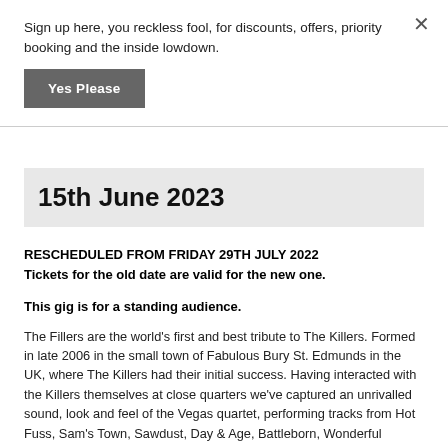Sign up here, you reckless fool, for discounts, offers, priority booking and the inside lowdown.
Yes Please
15th June 2023
RESCHEDULED FROM FRIDAY 29TH JULY 2022
Tickets for the old date are valid for the new one.
This gig is for a standing audience.
The Fillers are the world's first and best tribute to The Killers. Formed in late 2006 in the small town of Fabulous Bury St. Edmunds in the UK, where The Killers had their initial success. Having interacted with the Killers themselves at close quarters we've captured an unrivalled sound, look and feel of the Vegas quartet, performing tracks from Hot Fuss, Sam's Town, Sawdust, Day & Age, Battleborn, Wonderful Wonderful, Imploding The Mirage and Pressure Machine.